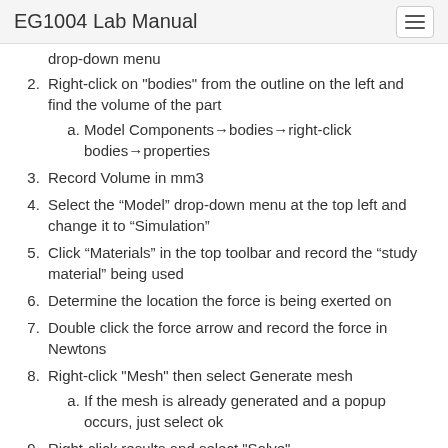EG1004 Lab Manual
drop-down menu
Right-click on "bodies" from the outline on the left and find the volume of the part
Model Components→bodies→right-click bodies→properties
Record Volume in mm3
Select the “Model” drop-down menu at the top left and change it to “Simulation”
Click “Materials” in the top toolbar and record the “study material” being used
Determine the location the force is being exerted on
Double click the force arrow and record the force in Newtons
Right-click "Mesh" then select Generate mesh
If the mesh is already generated and a popup occurs, just select ok
Right-click results and select "Solve"
Sketch a possible solution to the broken part that would add extra support to the face where the force is being applied